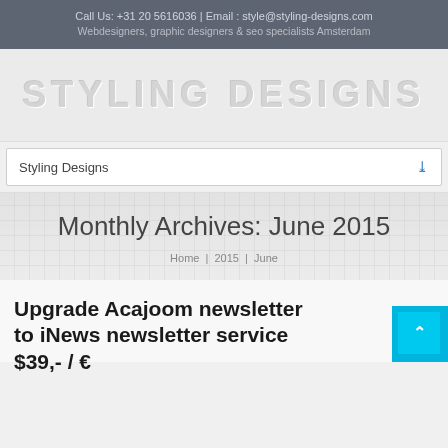Call Us: +31 20 5616036 | Email : style@styling-designs.com
Webdesigners, graphic designers & seo specialists Amsterdam
[Figure (logo): Styling Designs watermark logo text in large light gray letters]
Styling Designs
Monthly Archives: June 2015
Home | 2015 | June
Upgrade Acajoom newsletter to iNews newsletter service $39,- / €